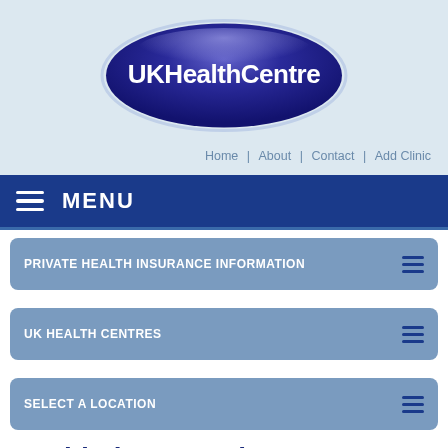[Figure (logo): UKHealthCentre oval logo — dark blue/purple oval with white text 'UKHealthCentre' on a light blue background]
Home | About | Contact | Add Clinic
MENU
PRIVATE HEALTH INSURANCE INFORMATION
UK HEALTH CENTRES
SELECT A LOCATION
World First Travel Insurance
If you're preparing to work overseas, jet off on holiday or travel the world and see the sights, it's essential to buy